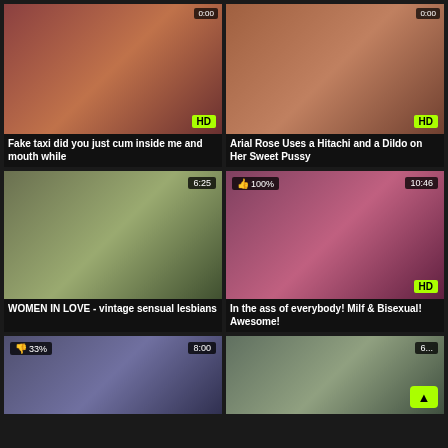[Figure (photo): Video thumbnail: redhead woman in bondage gear with collar and chain, someone holding a black object near her mouth. HD badge. Timer badge top right.]
Fake taxi did you just cum inside me and mouth while
[Figure (photo): Video thumbnail: brunette woman sitting on floor. HD badge top right.]
Arial Rose Uses a Hitachi and a Dildo on Her Sweet Pussy
[Figure (photo): Video thumbnail: two blonde women in intimate pose on floor. Duration badge 6:25.]
WOMEN IN LOVE - vintage sensual lesbians
[Figure (photo): Video thumbnail: woman in pink mask lying down. HD badge. 100% like rating. Duration 10:46.]
In the ass of everybody! Milf & Bisexual! Awesome!
[Figure (photo): Video thumbnail: partial view, bedroom scene. 33% rating. Duration 8:00.]
[Figure (photo): Video thumbnail: partially visible, duration badge partially cut off showing 6-something.]